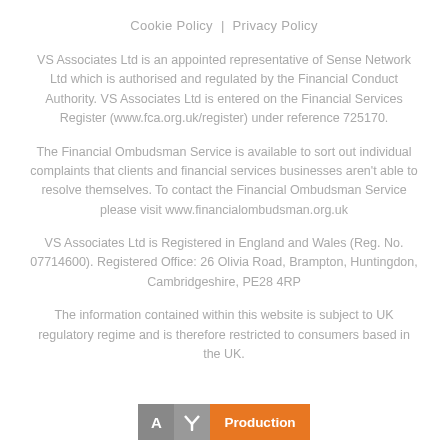Cookie Policy   Privacy Policy
VS Associates Ltd is an appointed representative of Sense Network Ltd which is authorised and regulated by the Financial Conduct Authority. VS Associates Ltd is entered on the Financial Services Register (www.fca.org.uk/register) under reference 725170.
The Financial Ombudsman Service is available to sort out individual complaints that clients and financial services businesses aren't able to resolve themselves. To contact the Financial Ombudsman Service please visit www.financialombudsman.org.uk
VS Associates Ltd is Registered in England and Wales (Reg. No. 07714600). Registered Office: 26 Olivia Road, Brampton, Huntingdon, Cambridgeshire, PE28 4RP
The information contained within this website is subject to UK regulatory regime and is therefore restricted to consumers based in the UK.
[Figure (logo): AY Production logo with grey A, grey Y with icon, and orange Production text]